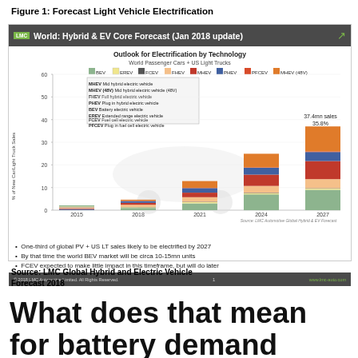Figure 1: Forecast Light Vehicle Electrification
[Figure (stacked-bar-chart): Outlook for Electrification by Technology — World Passenger Cars + US Light Trucks]
One-third of global PV + US LT sales likely to be electrified by 2027
By that time the world BEV market will be circa 10-15mn units
FCEV expected to make little impact in this timeframe, but will do later
Source: LMC Global Hybrid and Electric Vehicle Forecast 2018
What does that mean for battery demand